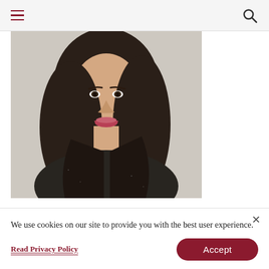Navigation bar with hamburger menu and search icon
[Figure (photo): Portrait photo of a young woman with long dark hair, smiling, wearing a dark sparkly top, against a light background]
Mary John Frank: February 23-
We use cookies on our site to provide you with the best user experience.
Read Privacy Policy
Accept